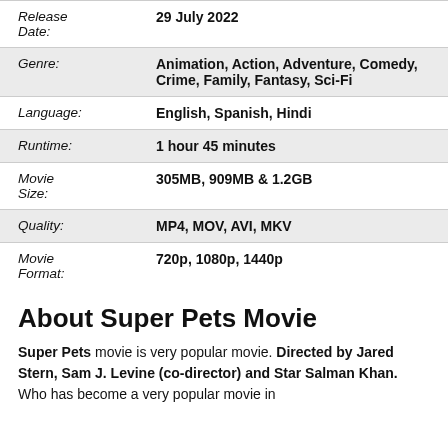| Field | Value |
| --- | --- |
| Release Date: | 29 July 2022 |
| Genre: | Animation, Action, Adventure, Comedy, Crime, Family, Fantasy, Sci-Fi |
| Language: | English, Spanish, Hindi |
| Runtime: | 1 hour 45 minutes |
| Movie Size: | 305MB, 909MB & 1.2GB |
| Quality: | MP4, MOV, AVI, MKV |
| Movie Format: | 720p, 1080p, 1440p |
About Super Pets Movie
Super Pets movie is very popular movie. Directed by Jared Stern, Sam J. Levine (co-director) and Star Salman Khan. Who has become a very popular movie in...